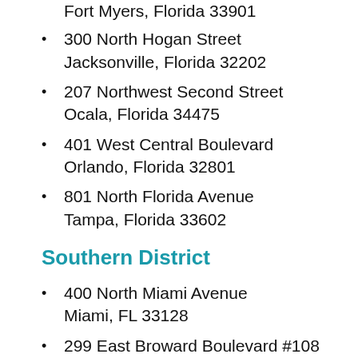Fort Myers, Florida 33901
300 North Hogan Street
Jacksonville, Florida 32202
207 Northwest Second Street
Ocala, Florida 34475
401 West Central Boulevard
Orlando, Florida 32801
801 North Florida Avenue
Tampa, Florida 33602
Southern District
400 North Miami Avenue
Miami, FL 33128
299 East Broward Boulevard #108
Fort Lauderdale, FL 33301
701 Clematis Street, Room 202
West Palm Beach, FL 33401
101 South U.S. Highway 1, Room #1016